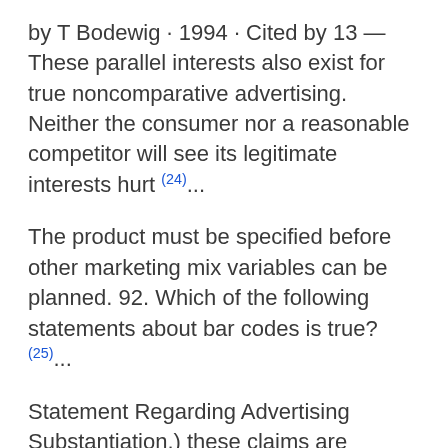by T Bodewig · 1994 · Cited by 13 — These parallel interests also exist for true noncomparative advertising. Neither the consumer nor a reasonable competitor will see its legitimate interests hurt (24)...
The product must be specified before other marketing mix variables can be planned. 92. Which of the following statements about bar codes is true?(25)...
Statement Regarding Advertising Substantiation.) these claims are